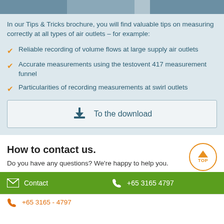[Figure (illustration): Top decorative banner image with blue/grey panels]
In our Tips & Tricks brochure, you will find valuable tips on measuring correctly at all types of air outlets – for example:
Reliable recording of volume flows at large supply air outlets
Accurate measurements using the testovent 417 measurement funnel
Particularities of recording measurements at swirl outlets
To the download
How to contact us.
Do you have any questions? We're happy to help you.
Contact | +65 3165 4797
+65 3165 - 4797